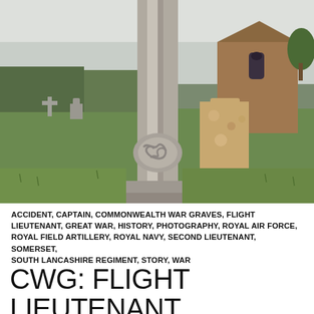[Figure (photo): A stone Celtic cross grave marker in a rural English churchyard, with an old stone church building visible in the background on the right, and other gravestones visible on the left. Green grass surrounds the cross. The cross has a knotwork carving at its base. Overcast sky above.]
ACCIDENT, CAPTAIN, COMMONWEALTH WAR GRAVES, FLIGHT LIEUTENANT, GREAT WAR, HISTORY, PHOTOGRAPHY, ROYAL AIR FORCE, ROYAL FIELD ARTILLERY, ROYAL NAVY, SECOND LIEUTENANT, SOMERSET, SOUTH LANCASHIRE REGIMENT, STORY, WAR
CWG: FLIGHT LIEUTENANT LEWIS MORGAN